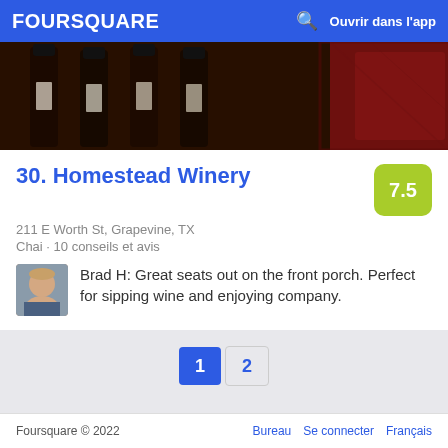FOURSQUARE  Ouvrir dans l'app
[Figure (photo): Photo of wine bottles lined up on a table with a red cloth, dark background]
30. Homestead Winery
7.5
211 E Worth St, Grapevine, TX
Chai · 10 conseils et avis
Brad H: Great seats out on the front porch. Perfect for sipping wine and enjoying company.
1  2
Foursquare © 2022    Bureau   Se connecter   Français